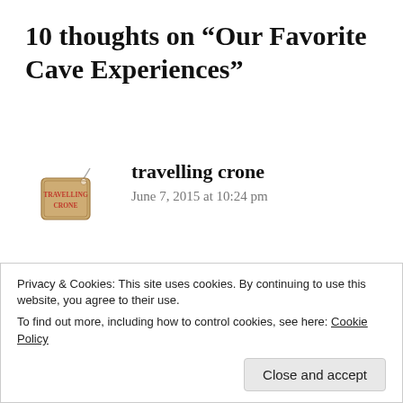10 thoughts on “Our Favorite Cave Experiences”
[Figure (illustration): Small luggage tag illustration with red text reading 'travelling crone', styled like a vintage travel tag with string]
travelling crone
June 7, 2015 at 10:24 pm
Years ago I visited Caves Branch in Belize, it freaking blew my mind… we floated on inner tubes down the river and into the
Privacy & Cookies: This site uses cookies. By continuing to use this website, you agree to their use.
To find out more, including how to control cookies, see here: Cookie Policy